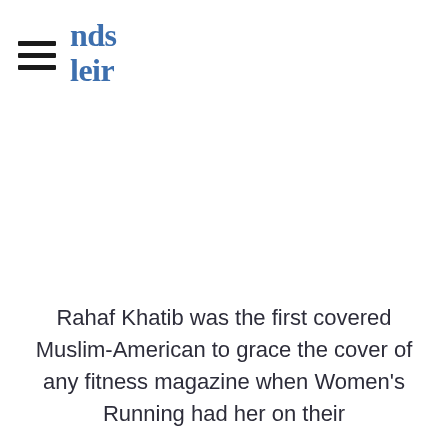nds
leir
Rahaf Khatib was the first covered Muslim-American to grace the cover of any fitness magazine when Women's Running had her on their